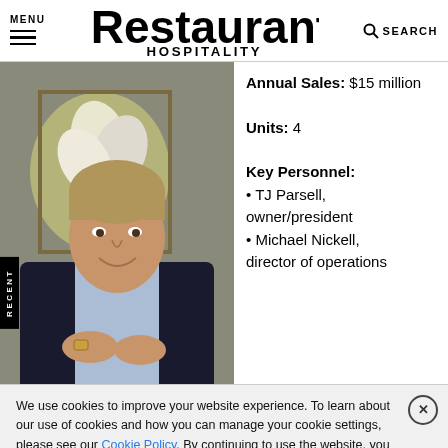MENU | Restaurant Hospitality | SEARCH
[Figure (photo): Portrait of a middle-aged man in a dark suit and light blue dress shirt, smiling, seated with hands clasped. Background shows a painting of a white flower.]
Annual Sales: $15 million
Units: 4
Key Personnel:
• TJ Parsell, owner/president
• Michael Nickell, director of operations
We use cookies to improve your website experience. To learn about our use of cookies and how you can manage your cookie settings, please see our Cookie Policy. By continuing to use the website, you consent to our use of cookies.